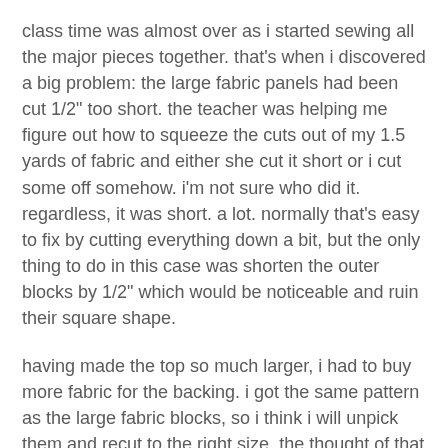class time was almost over as i started sewing all the major pieces together. that's when i discovered a big problem: the large fabric panels had been cut 1/2" too short. the teacher was helping me figure out how to squeeze the cuts out of my 1.5 yards of fabric and either she cut it short or i cut some off somehow. i'm not sure who did it. regardless, it was short. a lot. normally that's easy to fix by cutting everything down a bit, but the only thing to do in this case was shorten the outer blocks by 1/2" which would be noticeable and ruin their square shape.
having made the top so much larger, i had to buy more fabric for the backing. i got the same pattern as the large fabric blocks, so i think i will unpick them and recut to the right size. the thought of that makes me sick, but i think in the long run i will be happiest that way.
i finished putting all the major pieces together, nearly completing the top. at that point, my advil had worn off and the illness kicked in earnestly. i could barely see straight. what a day!